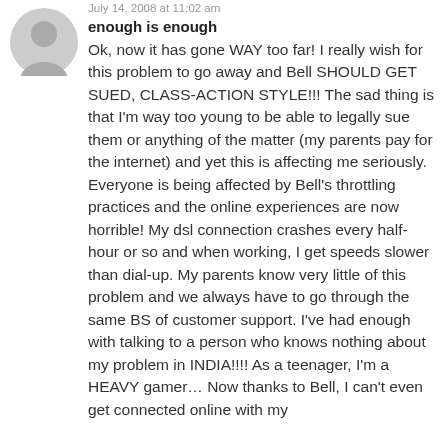July 14, 2008 at 11:02 am
enough is enough
Ok, now it has gone WAY too far! I really wish for this problem to go away and Bell SHOULD GET SUED, CLASS-ACTION STYLE!!! The sad thing is that I'm way too young to be able to legally sue them or anything of the matter (my parents pay for the internet) and yet this is affecting me seriously. Everyone is being affected by Bell's throttling practices and the online experiences are now horrible! My dsl connection crashes every half-hour or so and when working, I get speeds slower than dial-up. My parents know very little of this problem and we always have to go through the same BS of customer support. I've had enough with talking to a person who knows nothing about my problem in INDIA!!!! As a teenager, I'm a HEAVY gamer... Now thanks to Bell, I can't even get connected online with my